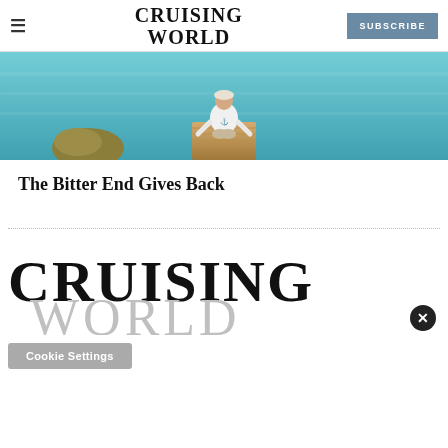CRUISING WORLD | SUBSCRIBE
[Figure (photo): Person sitting on a wooden dock looking out at turquoise water, with a rocky formation to the left. Viewed from behind, wearing a white long-sleeve shirt.]
The Bitter End Gives Back
[Figure (logo): Cruising World logo — CRUISING in large black serif, WORLD in large light gray serif below]
Cookie Settings